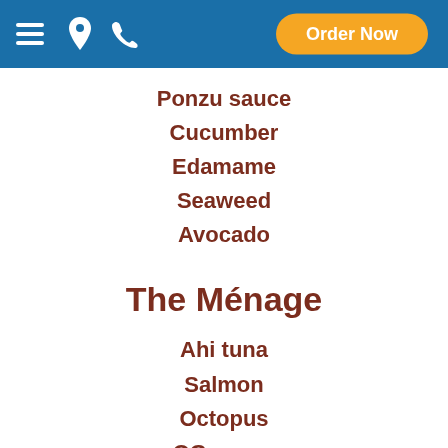Order Now
Ponzu sauce
Cucumber
Edamame
Seaweed
Avocado
The Ménage
Ahi tuna
Salmon
Octopus
OG sauce
Pickled veggies
Seaweed
Edamame